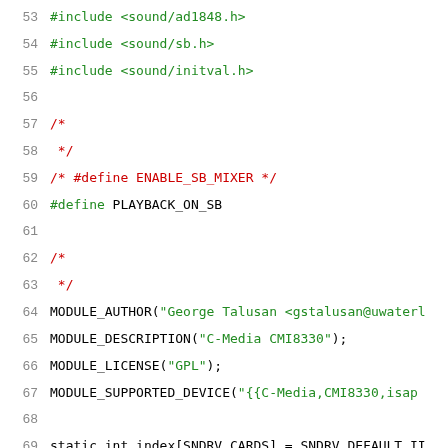53    #include <sound/ad1848.h>
54    #include <sound/sb.h>
55    #include <sound/initval.h>
56
57    /*
58     */
59    /* #define ENABLE_SB_MIXER */
60    #define PLAYBACK_ON_SB
61
62    /*
63     */
64    MODULE_AUTHOR("George Talusan <gstalusan@uwaterl...
65    MODULE_DESCRIPTION("C-Media CMI8330");
66    MODULE_LICENSE("GPL");
67    MODULE_SUPPORTED_DEVICE("{{C-Media,CMI8330,isap...
68
69    static int index[SNDRV_CARDS] = SNDRV_DEFAULT_II...
70    static char *id[SNDRV_CARDS] = SNDRV_DEFAULT_STI...
71    static int enable[SNDRV_CARDS] = SNDRV_DEFAULT_...
72    #ifdef CONFIG_PNP
73    static int isapnp[SNDRV_CARDS] = {[0 ... (SNDRV...
74    ...